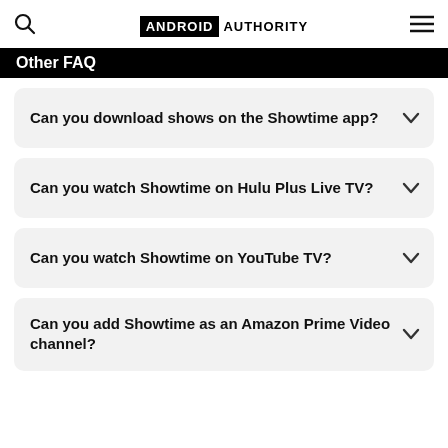ANDROID AUTHORITY
Other FAQ
Can you download shows on the Showtime app?
Can you watch Showtime on Hulu Plus Live TV?
Can you watch Showtime on YouTube TV?
Can you add Showtime as an Amazon Prime Video channel?